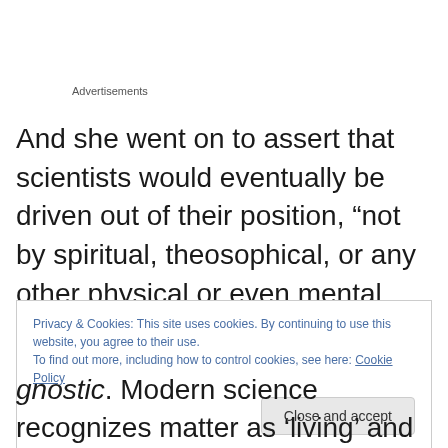Advertisements
And she went on to assert that scientists would eventually be driven out of their position, “not by spiritual, theosophical, or any other physical or even mental phenomena, but simply by the enormous gaps and chasms that open daily — and will still be opening before them.”
Privacy & Cookies: This site uses cookies. By continuing to use this website, you agree to their use.
To find out more, including how to control cookies, see here: Cookie Policy
Close and accept
gnostic. Modern science recognizes matter as ‘living’ and